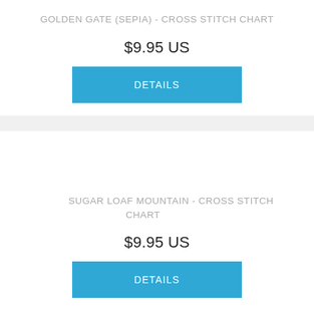GOLDEN GATE (SEPIA) - CROSS STITCH CHART
$9.95 US
DETAILS
SUGAR LOAF MOUNTAIN - CROSS STITCH CHART
$9.95 US
DETAILS